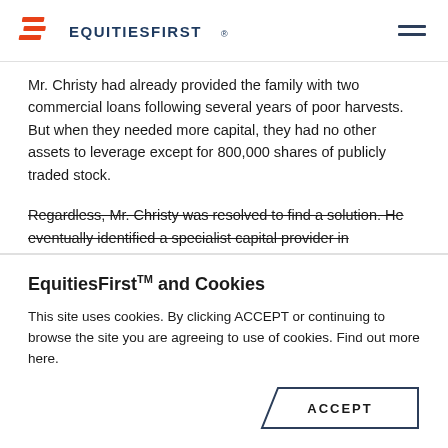EquitiesFirst
Mr. Christy had already provided the family with two commercial loans following several years of poor harvests. But when they needed more capital, they had no other assets to leverage except for 800,000 shares of publicly traded stock.
Regardless, Mr. Christy was resolved to find a solution. He eventually identified a specialist capital provider in
EquitiesFirst™ and Cookies
This site uses cookies. By clicking ACCEPT or continuing to browse the site you are agreeing to use of cookies. Find out more here.